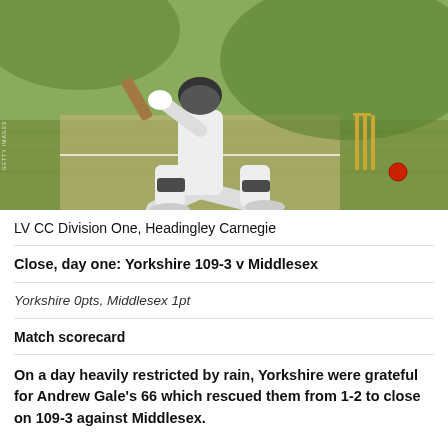[Figure (photo): Cricket batsman in white kit playing a shot near the stumps on a grassy pitch, viewed from behind and to the side. Red ball visible near the stumps. Sunny outdoor cricket ground.]
LV CC Division One, Headingley Carnegie
Close, day one: Yorkshire 109-3 v Middlesex
Yorkshire 0pts, Middlesex 1pt
Match scorecard
On a day heavily restricted by rain, Yorkshire were grateful for Andrew Gale's 66 which rescued them from 1-2 to close on 109-3 against Middlesex.